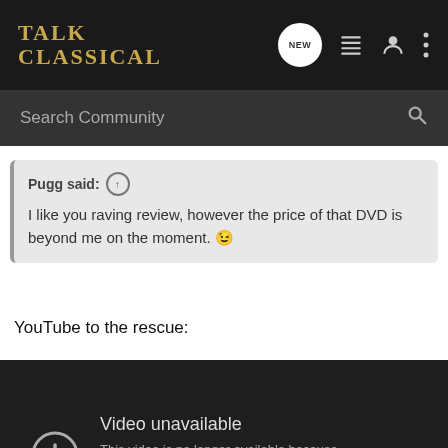Talk Classical
Search Community
Pugg said: ↑
I like you raving review, however the price of that DVD is beyond me on the moment. 😉
YouTube to the rescue:
[Figure (screenshot): YouTube video unavailable error screen. Shows an exclamation mark icon in a circle with text: 'Video unavailable. This video is no longer available because the YouTube account associated with this video has been terminated.']